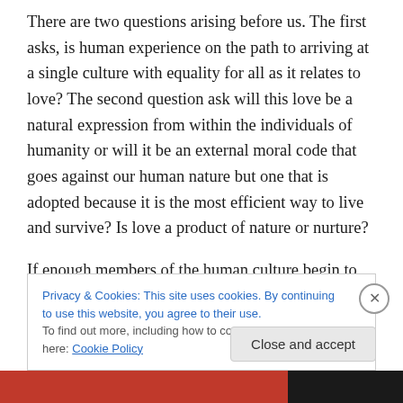There are two questions arising before us. The first asks, is human experience on the path to arriving at a single culture with equality for all as it relates to love? The second question ask will this love be a natural expression from within the individuals of humanity or will it be an external moral code that goes against our human nature but one that is adopted because it is the most efficient way to live and survive? Is love a product of nature or nurture?
If enough members of the human culture begin to live in the identity that they we are children of God and that they
Privacy & Cookies: This site uses cookies. By continuing to use this website, you agree to their use.
To find out more, including how to control cookies, see here: Cookie Policy
Close and accept